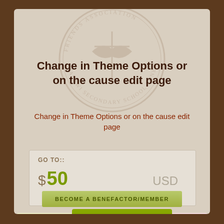[Figure (logo): Friends Association Malawi Secondary School Zone 2 circular watermark logo with bird/cross emblem]
Change in Theme Options or on the cause edit page
Change in Theme Options or on the cause edit page
GO TO::
$50
USD
BECOME A BENEFACTOR/MEMBER
NEWSLETTER
SUBSCRIPTION
Deutsch
DONATE VIA PAYPAL